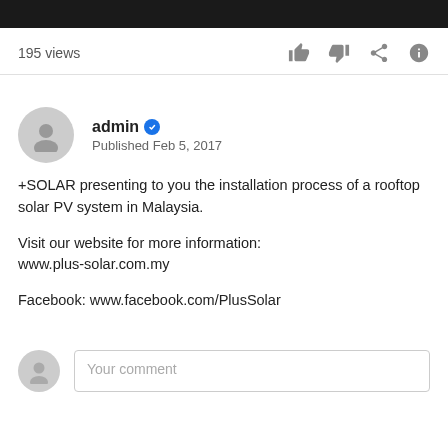195 views
[Figure (screenshot): YouTube action icons: thumbs up, thumbs down, share, info]
[Figure (illustration): Channel avatar: grey silhouette person icon in circle]
admin ✓
Published Feb 5, 2017
+SOLAR presenting to you the installation process of a rooftop solar PV system in Malaysia.

Visit our website for more information:
www.plus-solar.com.my

Facebook: www.facebook.com/PlusSolar
[Figure (illustration): Comment section avatar: grey silhouette person icon in circle]
Your comment